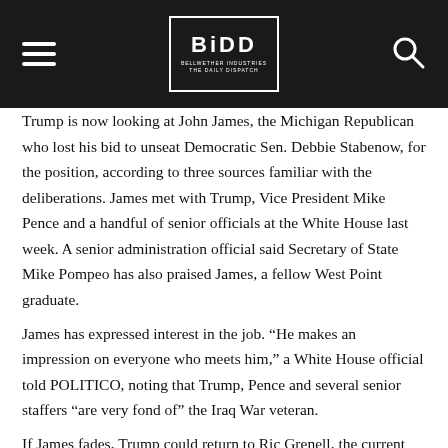BIDD
Trump is now looking at John James, the Michigan Republican who lost his bid to unseat Democratic Sen. Debbie Stabenow, for the position, according to three sources familiar with the deliberations. James met with Trump, Vice President Mike Pence and a handful of senior officials at the White House last week. A senior administration official said Secretary of State Mike Pompeo has also praised James, a fellow West Point graduate.
James has expressed interest in the job. “He makes an impression on everyone who meets him,” a White House official told POLITICO, noting that Trump, Pence and several senior staffers “are very fond of” the Iraq War veteran.
If James fades, Trump could return to Ric Grenell, the current U.S. ambassador to Germany, who was a name that emerged early on after Haley announced her resignation in October. But two sources inside the administration